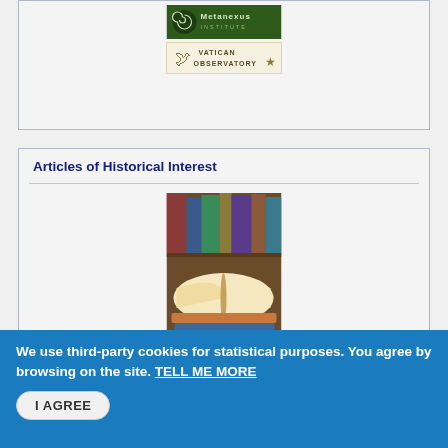[Figure (logo): Metanexus Institute logo and Vatican Observatory logo stacked vertically]
Articles of Historical Interest
[Figure (photo): Open books stacked with a bookshelf in the background]
2009
[Figure (photo): Image showing a silhouette of a person pointing at stars alongside a portrait of Charles Darwin]
We use third-party cookies for statistical purposes. You agree by browsing on the site. TELL ME MORE
I AGREE